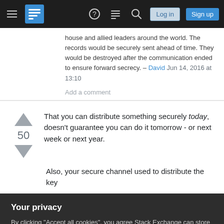Stack Exchange navigation bar with hamburger menu, logo, help, chat, search icons, Log in and Sign up buttons
house and allied leaders around the world. The records would be securely sent ahead of time. They would be destroyed after the communication ended to ensure forward secrecy. – David Jun 14, 2016 at 13:10
Add a comment
That you can distribute something securely today, doesn't guarantee you can do it tomorrow - or next week or next year.
Also, your secure channel used to distribute the key
Your privacy
By clicking "Accept all cookies", you agree Stack Exchange can store cookies on your device and disclose information in accordance with our Cookie Policy.
Accept all cookies   Customize settings
suspicious if used too often with too much)... You